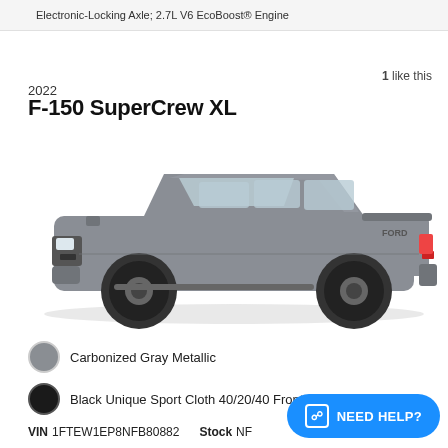Electronic-Locking Axle; 2.7L V6 EcoBoost® Engine
1 like this
2022
F-150 SuperCrew XL
[Figure (photo): Side profile view of a 2022 Ford F-150 SuperCrew XL in Carbonized Gray Metallic with black wheels]
Carbonized Gray Metallic
Black Unique Sport Cloth 40/20/40 Front-Seats
VIN 1FTEW1EP8NFB80882   Stock NF…
MSRP
NEED HELP?